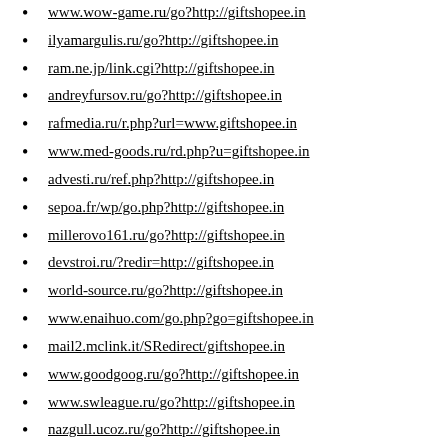www.wow-game.ru/go?http://giftshopee.in
ilyamargulis.ru/go?http://giftshopee.in
ram.ne.jp/link.cgi?http://giftshopee.in
andreyfursov.ru/go?http://giftshopee.in
rafmedia.ru/r.php?url=www.giftshopee.in
www.med-goods.ru/rd.php?u=giftshopee.in
advesti.ru/ref.php?http://giftshopee.in
sepoa.fr/wp/go.php?http://giftshopee.in
millerovo161.ru/go?http://giftshopee.in
devstroi.ru/?redir=http://giftshopee.in
world-source.ru/go?http://giftshopee.in
www.enaihuo.com/go.php?go=giftshopee.in
mail2.mclink.it/SRedirect/giftshopee.in
www.goodgoog.ru/go?http://giftshopee.in
www.swleague.ru/go?http://giftshopee.in
nazgull.ucoz.ru/go?http://giftshopee.in
blogsam.ru/url.php?http://giftshopee.in
www.rosbooks.ru/go?http://giftshopee.in
pgpublisher.ru/go.php?url=giftshopee.in